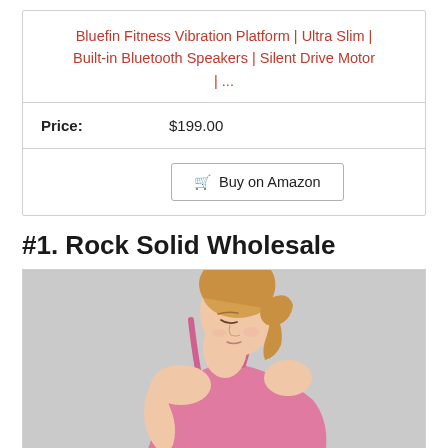Bluefin Fitness Vibration Platform | Ultra Slim | Built-in Bluetooth Speakers | Silent Drive Motor | ...
| Price: | $199.00 |
|  | Buy on Amazon |
#1. Rock Solid Wholesale
[Figure (photo): A woman with blonde hair in a pink sports top, looking down, against a light grey background.]